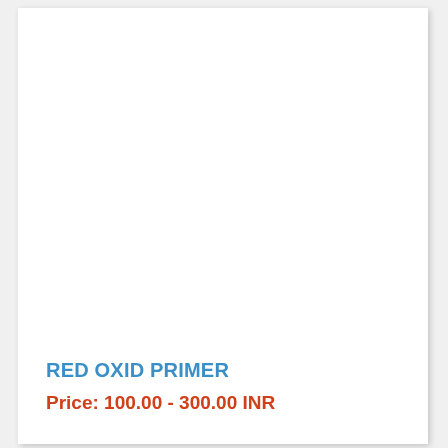RED OXID PRIMER
Price: 100.00 - 300.00 INR